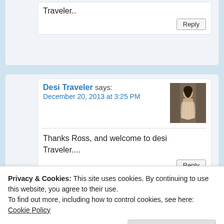Traveler..
Reply
Desi Traveler says: December 20, 2013 at 3:25 PM
[Figure (photo): Profile photo of Desi Traveler - person seen from behind]
Thanks Ross, and welcome to desi Traveler....
Reply
4. Anupoy Samanta says:
Privacy & Cookies: This site uses cookies. By continuing to use this website, you agree to their use. To find out more, including how to control cookies, see here: Cookie Policy
Close and accept